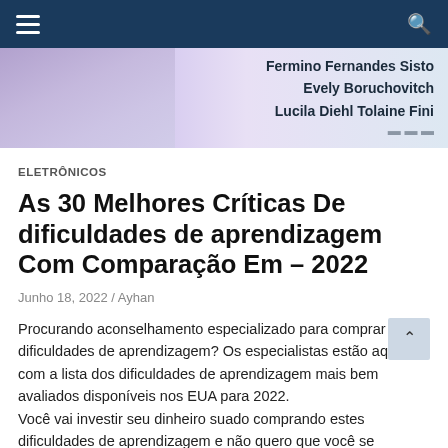Navigation bar with hamburger menu and search icon
[Figure (illustration): Banner image showing a book/notebook background on the left in purple/lavender tones, with author names listed on the right: Fermino Fernandes Sisto, Evely Boruchovitch, Lucila Diehl Tolaine Fini, and partially visible fourth author]
ELETRÔNICOS
As 30 Melhores Críticas De dificuldades de aprendizagem Com Comparação Em – 2022
Junho 18, 2022 / Ayhan
Procurando aconselhamento especializado para comprar os dificuldades de aprendizagem? Os especialistas estão aqui com a lista dos dificuldades de aprendizagem mais bem avaliados disponíveis nos EUA para 2022.
Você vai investir seu dinheiro suado comprando estes dificuldades de aprendizagem e não quero que você se